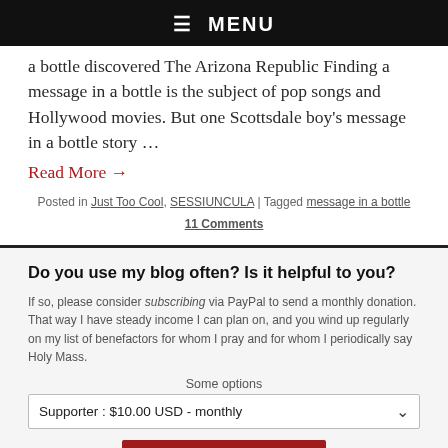☰ MENU
a bottle discovered The Arizona Republic Finding a message in a bottle is the subject of pop songs and Hollywood movies. But one Scottsdale boy's message in a bottle story …
Read More →
Posted in Just Too Cool, SESSIUNCULA | Tagged message in a bottle
11 Comments
Do you use my blog often? Is it helpful to you?
If so, please consider subscribing via PayPal to send a monthly donation. That way I have steady income I can plan on, and you wind up regularly on my list of benefactors for whom I pray and for whom I periodically say Holy Mass.
Some options
Supporter : $10.00 USD - monthly
SUBSCRIBE